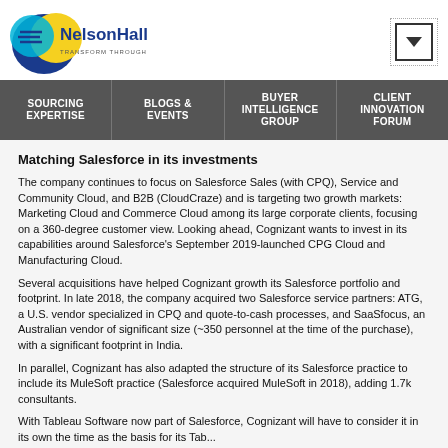NelsonHall - Transform Through Insight
Matching Salesforce in its investments
The company continues to focus on Salesforce Sales (with CPQ), Service and Community Cloud, and B2B (CloudCraze) and is targeting two growth markets: Marketing Cloud and Commerce Cloud among its large corporate clients, focusing on a 360-degree customer view. Looking ahead, Cognizant wants to invest in its capabilities around Salesforce's September 2019-launched CPG Cloud and Manufacturing Cloud.
Several acquisitions have helped Cognizant growth its Salesforce portfolio and footprint. In late 2018, the company acquired two Salesforce service partners: ATG, a U.S. vendor specialized in CPQ and quote-to-cash processes, and SaaSfocus, an Australian vendor of significant size (~350 personnel at the time of the purchase), with a significant footprint in India.
In parallel, Cognizant has also adapted the structure of its Salesforce practice to include its MuleSoft practice (Salesforce acquired MuleSoft in 2018), adding 1.7k consultants.
With Tableau Software now part of Salesforce, Cognizant will have to consider it in its own the time as the basis for its Tab...